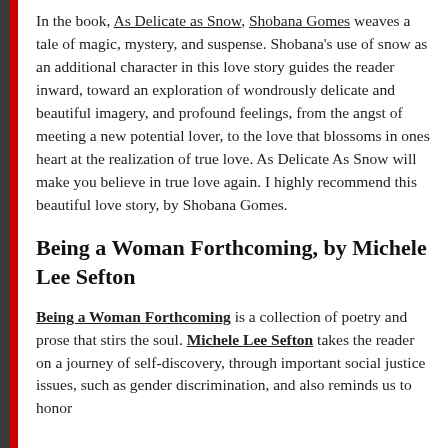In the book, As Delicate as Snow, Shobana Gomes weaves a tale of magic, mystery, and suspense. Shobana's use of snow as an additional character in this love story guides the reader inward, toward an exploration of wondrously delicate and beautiful imagery, and profound feelings, from the angst of meeting a new potential lover, to the love that blossoms in ones heart at the realization of true love. As Delicate As Snow will make you believe in true love again. I highly recommend this beautiful love story, by Shobana Gomes.
Being a Woman Forthcoming, by Michele Lee Sefton
Being a Woman Forthcoming is a collection of poetry and prose that stirs the soul. Michele Lee Sefton takes the reader on a journey of self-discovery, through important social justice issues, such as gender discrimination, and also reminds us to honor